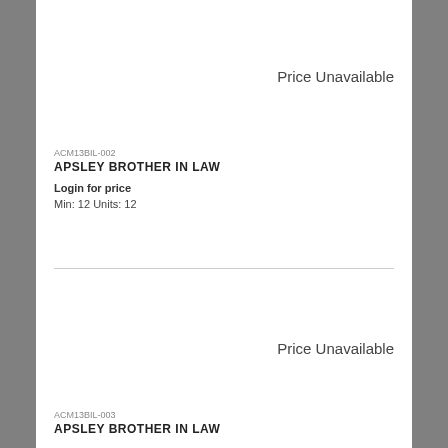Price Unavailable
ACM13BIL-002
APSLEY BROTHER IN LAW
Login for price
Min:  12 Units:  12
Price Unavailable
ACM13BIL-003
APSLEY BROTHER IN LAW